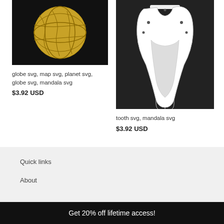[Figure (illustration): Golden mandala globe on dark background]
globe svg, map svg, planet svg, globe svg, mandala svg
$3.92 USD
[Figure (illustration): White mandala tooth illustration on dark background]
tooth svg, mandala svg
$3.92 USD
Quick links
About
Get 20% off lifetime access!